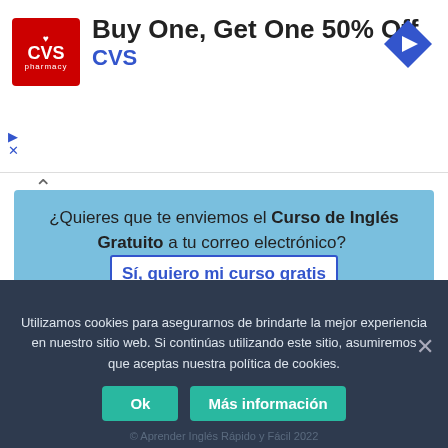[Figure (logo): CVS Pharmacy advertisement banner with red CVS logo, text 'Buy One, Get One 50% Off' and 'CVS', and a blue diamond-shaped navigation arrow icon on the right.]
¿Quieres que te enviemos el Curso de Inglés Gratuito a tu correo electrónico? Sí, quiero mi curso gratis
¿Quieres aprender inglés gratis? Inicia tu curso de inglés desde cero con videos y ejercicios. Pruébalo ahora mismo: Ir al Curso
Utilizamos cookies para asegurarnos de brindarte la mejor experiencia en nuestro sitio web. Si continúas utilizando este sitio, asumiremos que aceptas nuestra política de cookies.
© Aprender Inglés Rápido y Fácil 2022